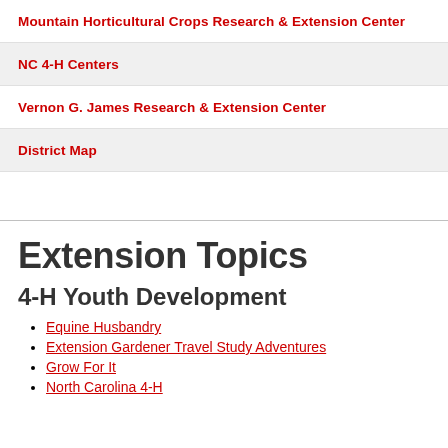Mountain Horticultural Crops Research & Extension Center
NC 4-H Centers
Vernon G. James Research & Extension Center
District Map
Extension Topics
4-H Youth Development
Equine Husbandry
Extension Gardener Travel Study Adventures
Grow For It
North Carolina 4-H